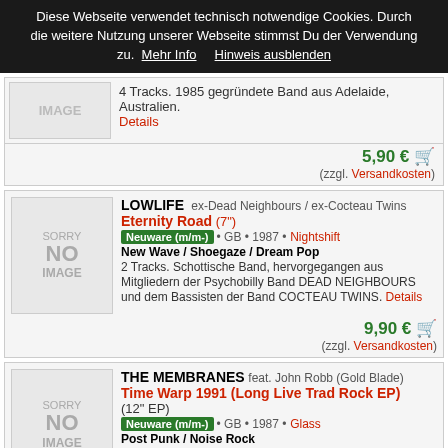Diese Webseite verwendet technisch notwendige Cookies. Durch die weitere Nutzung unserer Webseite stimmst Du der Verwendung zu. Mehr Info  Hinweis ausblenden
4 Tracks. 1985 gegründete Band aus Adelaide, Australien. Details
5,90 € (zzgl. Versandkosten)
LOWLIFE  ex-Dead Neighbours / ex-Cocteau Twins
Eternity Road (7")
Neuware (m/m-) • GB • 1987 • Nightshift
New Wave / Shoegaze / Dream Pop
2 Tracks. Schottische Band, hervorgegangen aus Mitgliedern der Psychobilly Band DEAD NEIGHBOURS und dem Bassisten der Band COCTEAU TWINS. Details
9,90 € (zzgl. Versandkosten)
THE MEMBRANES  feat. John Robb (Gold Blade)
Time Warp 1991 (Long Live Trad Rock EP) (12" EP)
Neuware (m/m-) • GB • 1987 • Glass
Post Punk / Noise Rock
5 Tracks. Details
6,90 €